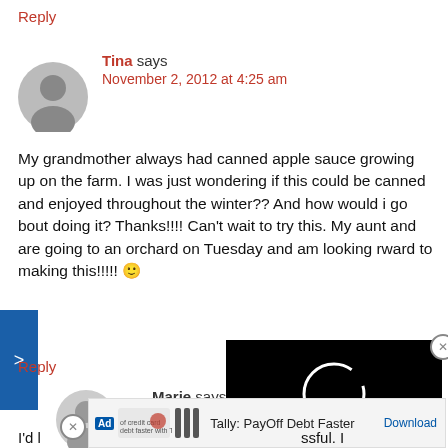Reply
Tina says
November 2, 2012 at 4:25 am
My grandmother always had canned apple sauce growing up on the farm. I was just wondering if this could be canned and enjoyed throughout the winter?? And how would i go bout doing it? Thanks!!!! Can't wait to try this. My aunt and are going to an orchard on Tuesday and am looking rward to making this!!!!! 🙂
Reply
Marie says
November 1, 2018
[Figure (screenshot): Video player overlay showing a loading spinner (white circle) on black background, with a close (X) button]
[Figure (screenshot): Advertisement bar: 'Ad' label, Tally app logo and icons, text 'of credit card debt faster with Tally', 'Tally: PayOff Debt Faster', Download button]
I'd l...ssful. I